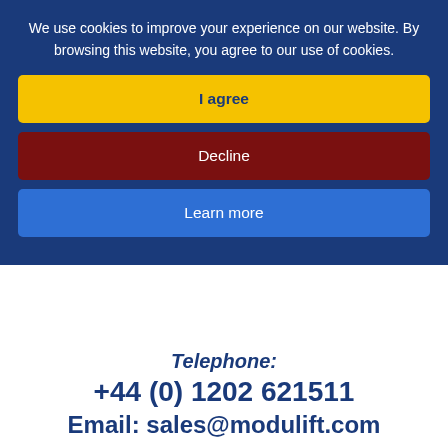We use cookies to improve your experience on our website. By browsing this website, you agree to our use of cookies.
I agree
Decline
Learn more
Telephone:
+44 (0) 1202 621511
Email: sales@modulift.com
[Figure (infographic): Social media icons: Facebook, Twitter, LinkedIn, Blogger]
[Figure (infographic): Navigation hamburger menu icon on yellow bar]
[Figure (logo): CHAT! with us widget in teal/blue color at bottom right]